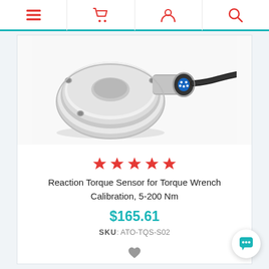Navigation bar with menu, cart, account, and search icons
[Figure (photo): Reaction torque sensor — flat circular stainless steel flange with mounting holes, attached to a cylindrical connector with blue 5-pin socket and black cable]
[Figure (other): Five red star rating icons]
Reaction Torque Sensor for Torque Wrench Calibration, 5-200 Nm
$165.61
SKU: ATO-TQS-S02
ADD TO CART